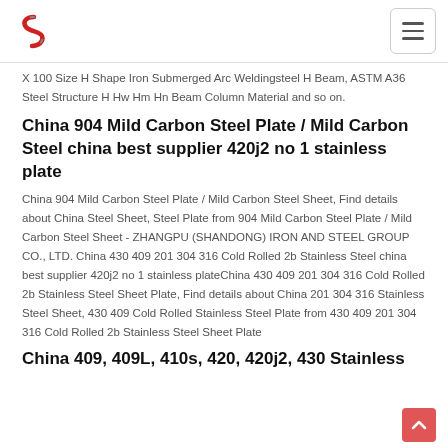X 100 Size H Shape Iron Submerged Arc Weldingsteel H Beam, ASTM A36 Steel Structure H Hw Hm Hn Beam Column Material and so on.
China 904 Mild Carbon Steel Plate / Mild Carbon Steel china best supplier 420j2 no 1 stainless plate
China 904 Mild Carbon Steel Plate / Mild Carbon Steel Sheet, Find details about China Steel Sheet, Steel Plate from 904 Mild Carbon Steel Plate / Mild Carbon Steel Sheet - ZHANGPU (SHANDONG) IRON AND STEEL GROUP CO., LTD. China 430 409 201 304 316 Cold Rolled 2b Stainless Steel china best supplier 420j2 no 1 stainless plateChina 430 409 201 304 316 Cold Rolled 2b Stainless Steel Sheet Plate, Find details about China 201 304 316 Stainless Steel Sheet, 430 409 Cold Rolled Stainless Steel Plate from 430 409 201 304 316 Cold Rolled 2b Stainless Steel Sheet Plate
China 409, 409L, 410s, 420, 420j2, 430 Stainless